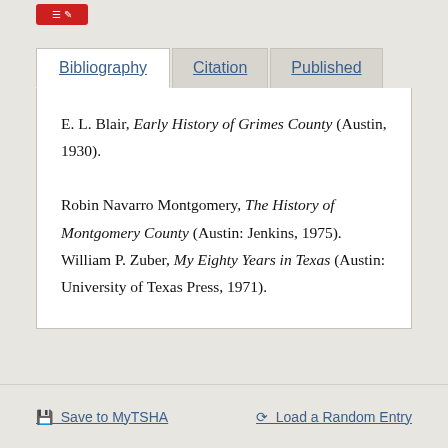Bibliography | Citation | Published
E. L. Blair, Early History of Grimes County (Austin, 1930). Robin Navarro Montgomery, The History of Montgomery County (Austin: Jenkins, 1975). William P. Zuber, My Eighty Years in Texas (Austin: University of Texas Press, 1971).
Save to MyTSHA | Load a Random Entry